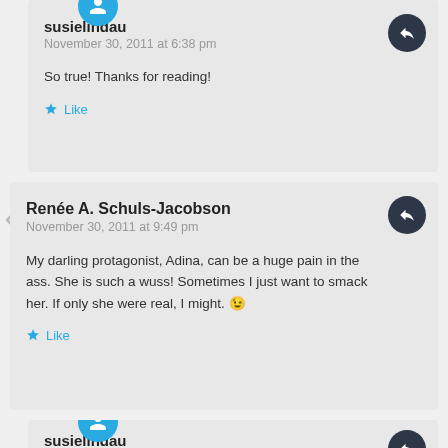susielindau
November 30, 2011 at 6:38 pm
So true! Thanks for reading!
Like
Renée A. Schuls-Jacobson
November 30, 2011 at 9:49 pm
My darling protagonist, Adina, can be a huge pain in the ass. She is such a wuss! Sometimes I just want to smack her. If only she were real, I might. 😉
Like
susielindau
December 1, 2011 at 7:34 am